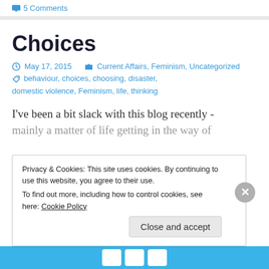5 Comments
Choices
May 17, 2015   Current Affairs, Feminism, Uncategorized   behaviour, choices, choosing, disaster, domestic violence, Feminism, life, thinking
I've been a bit slack with this blog recently - mainly a matter of life getting in the way of
Privacy & Cookies: This site uses cookies. By continuing to use this website, you agree to their use.
To find out more, including how to control cookies, see here: Cookie Policy
Close and accept